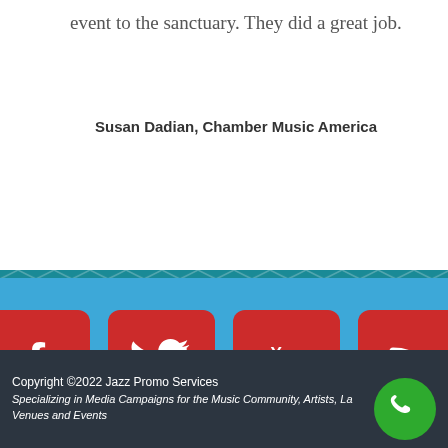event to the sanctuary. They did a great job.
Susan Dadian, Chamber Music America
[Figure (infographic): Four social media icon buttons on blue background: Facebook, Twitter, YouTube, RSS feed icons in red/white squares]
Copyright ©2022 Jazz Promo Services
Specializing in Media Campaigns for the Music Community, Artists, Labels, Venues and Events